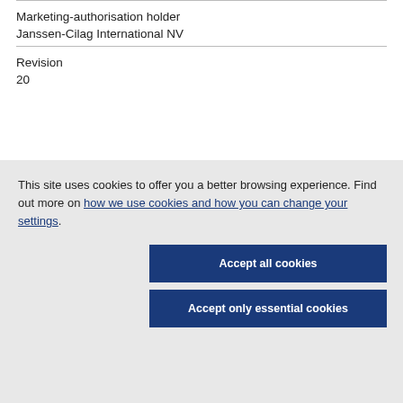Marketing-authorisation holder
Janssen-Cilag International NV
Revision
20
This site uses cookies to offer you a better browsing experience. Find out more on how we use cookies and how you can change your settings.
Accept all cookies
Accept only essential cookies